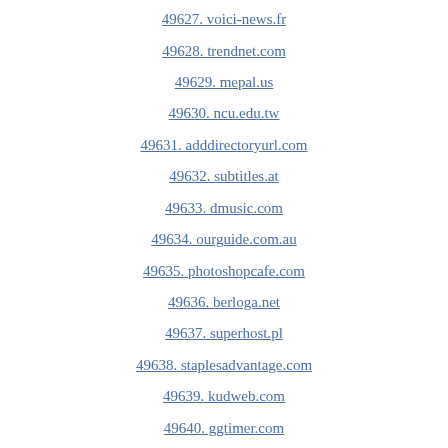49627. voici-news.fr
49628. trendnet.com
49629. mepal.us
49630. ncu.edu.tw
49631. adddirectoryurl.com
49632. subtitles.at
49633. dmusic.com
49634. ourguide.com.au
49635. photoshopcafe.com
49636. berloga.net
49637. superhost.pl
49638. staplesadvantage.com
49639. kudweb.com
49640. ggtimer.com